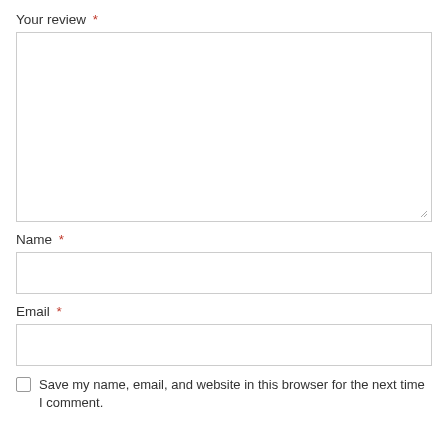Your review *
[Figure (other): Large empty textarea input box for review text]
Name *
[Figure (other): Single-line text input box for Name]
Email *
[Figure (other): Single-line text input box for Email]
Save my name, email, and website in this browser for the next time I comment.